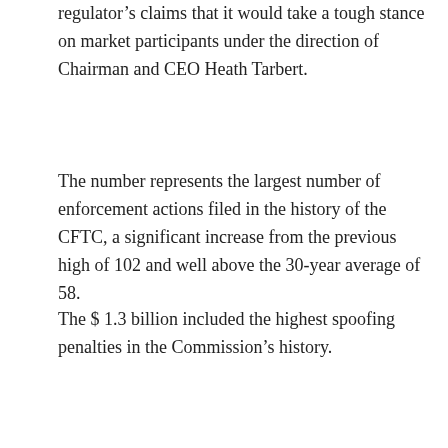regulator's claims that it would take a tough stance on market participants under the direction of Chairman and CEO Heath Tarbert.
The number represents the largest number of enforcement actions filed in the history of the CFTC, a significant increase from the previous high of 102 and well above the 30-year average of 58.
The $ 1.3 billion included the highest spoofing penalties in the Commission's history.
“A strong enforcement program from the CFTC is critical to the proper functioning of our derivatives markets and the health of the American economy as a whole,” said Tarbert. “Without integrity, these markets – markets that price everything from groceries to gasoline to home mortgage rates – just wouldn’t work.